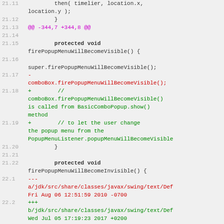Code diff showing changes to Java Swing popup menu visibility methods
[Figure (screenshot): Unified diff of Java source files showing modifications to firePopupMenuWillBecomeVisible and related methods in javax/swing classes]